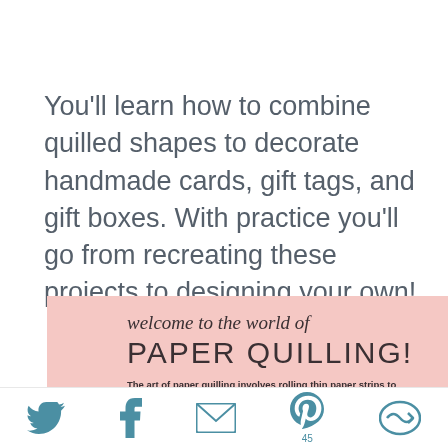You'll learn how to combine quilled shapes to decorate handmade cards, gift tags, and gift boxes. With practice you'll go from recreating these projects to designing your own!
[Figure (illustration): Pink banner with 'welcome to the world of PAPER QUILLING!' heading and descriptive text about the art of paper quilling involving rolling thin paper strips to create flowers, animals, and other decorative shapes.]
[Figure (infographic): Social media sharing bar at the bottom with Twitter bird icon, Facebook 'f' icon, email envelope icon, Pinterest 'P' icon with count 45, and a circular arrow/share icon, all in teal/steel blue color.]